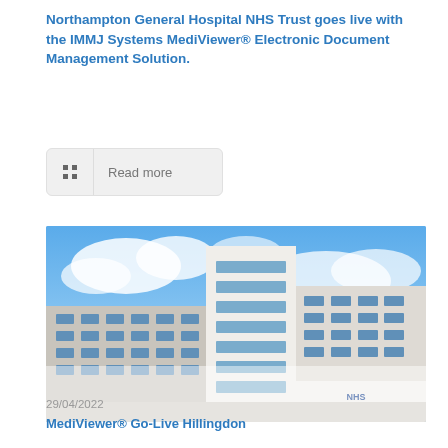Northampton General Hospital NHS Trust goes live with the IMMJ Systems MediViewer® Electronic Document Management Solution.
Read more
[Figure (photo): Photograph of a modern NHS hospital building with glass windows under a blue sky with clouds. NHS logo visible on the building facade.]
29/04/2022
MediViewer® Go-Live Hillingdon
Read more